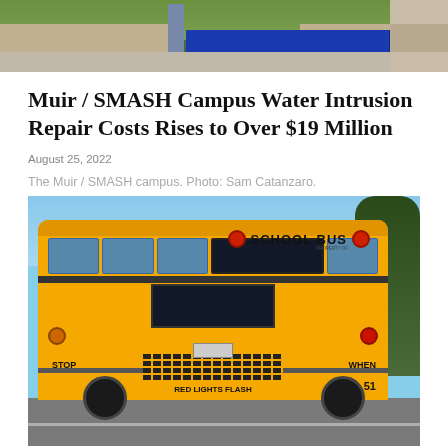[Figure (photo): The Muir / SMASH campus exterior showing a blue gate and wall with greenery, path on the right side]
Muir / SMASH Campus Water Intrusion Repair Costs Rises to Over $19 Million
August 25, 2022
The Muir / SMASH campus. Photo: Sam Catanzaro.
[Figure (photo): Rear view of a yellow school bus on a road with trees on the right, clear blue sky. The bus shows SCHOOL BUS text, STOP WHEN RED LIGHTS FLASH warning, and the number 51.]